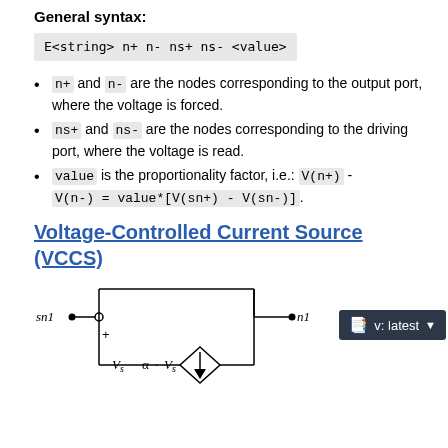General syntax:
E<string> n+ n- ns+ ns- <value>
n+ and n- are the nodes corresponding to the output port, where the voltage is forced.
ns+ and ns- are the nodes corresponding to the driving port, where the voltage is read.
value is the proportionality factor, i.e.: V(n+) - V(n-) = value*[V(sn+) - V(sn-)].
Voltage-Controlled Current Source (VCCS)
[Figure (engineering-diagram): VCCS circuit diagram showing sn1 node connected through a voltage source Vs with + terminal, and alpha*Vs current source with downward arrow, connected to n1 node, all within a rectangular circuit boundary.]